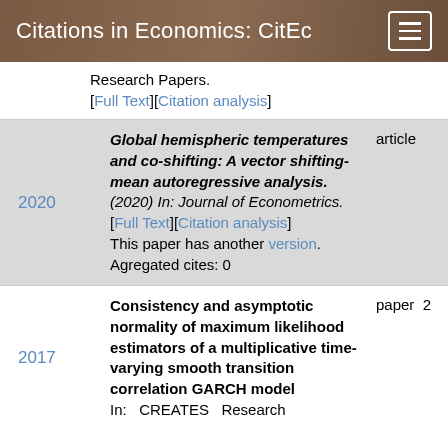Citations in Economics: CitEc
Research Papers.
[Full Text][Citation analysis]
2020 — Global hemispheric temperatures and co-shifting: A vector shifting-mean autoregressive analysis.(2020) In: Journal of Econometrics. [Full Text][Citation analysis] This paper has another version. Agregated cites: 0 — article
2017 — Consistency and asymptotic normality of maximum likelihood estimators of a multiplicative time-varying smooth transition correlation GARCH model In: CREATES Research — paper 2